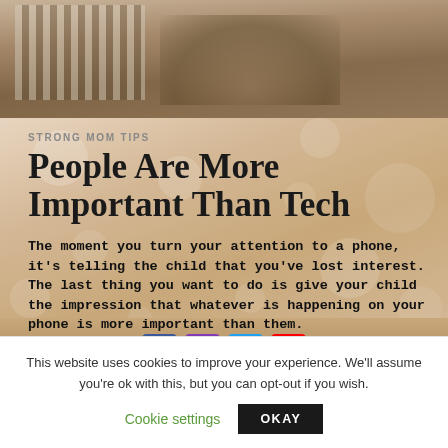[Figure (photo): Photo of adults sitting at a table together, one wearing a striped shirt, in a kitchen/dining setting]
STRONG MOM TIPS
People Are More Important Than Tech
The moment you turn your attention to a phone, it's telling the child that you've lost interest. The last thing you want to do is give your child the impression that whatever is happening on your phone is more important than them.
This website uses cookies to improve your experience. We'll assume you're ok with this, but you can opt-out if you wish.
Cookie settings    OKAY